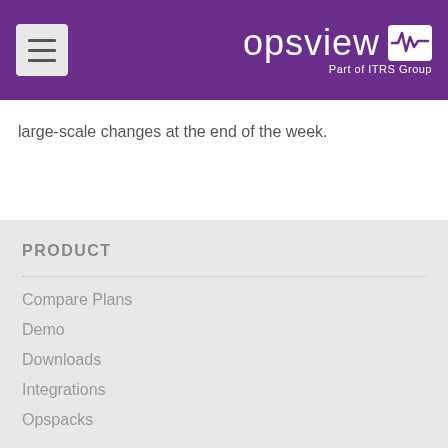opsview — Part of ITRS Group
large-scale changes at the end of the week.
PRODUCT
Compare Plans
Demo
Downloads
Integrations
Opspacks